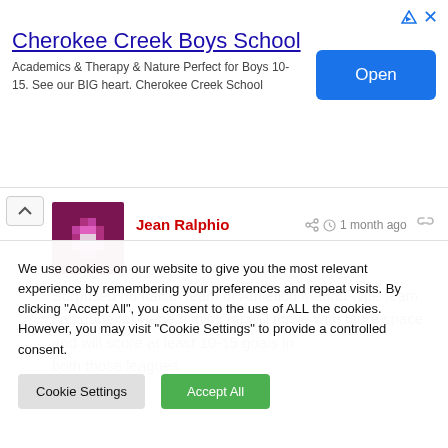[Figure (screenshot): Advertisement banner for Cherokee Creek Boys School with Open button]
Cherokee Creek Boys School
Academics & Therapy & Nature Perfect for Boys 10-15. See our BIG heart. Cherokee Creek School
Jean Ralphio · 1 month ago
Surprised no Italian team or Athletico Madrid-type team has gone for Pepe. I think he will thrive with more space and will score at least 10-15 goals in both those leagues.
We use cookies on our website to give you the most relevant experience by remembering your preferences and repeat visits. By clicking "Accept All", you consent to the use of ALL the cookies. However, you may visit "Cookie Settings" to provide a controlled consent.